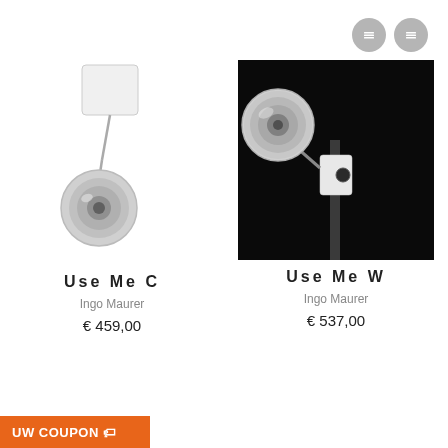[Figure (photo): Two circular navigation/menu icons (grey circles) in top right corner]
[Figure (photo): White ceiling spotlight lamp 'Use Me C' by Ingo Maurer, shown on white background with chrome head angled down]
[Figure (photo): White wall spotlight lamp 'Use Me W' by Ingo Maurer, shown on black background with round chrome head pointing up]
Use Me C
Ingo Maurer
€ 459,00
Use Me W
Ingo Maurer
€ 537,00
UW COUPON 🏷